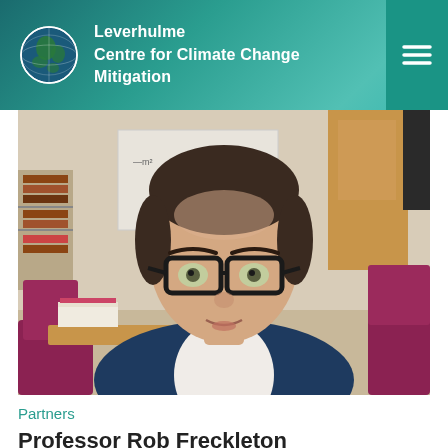Leverhulme Centre for Climate Change Mitigation
[Figure (photo): Photograph of a man with glasses and dark hair wearing a navy blazer and white shirt, sitting in an office with a whiteboard, bookshelves, and maroon chairs visible in the background. Video call or screenshot style image.]
Partners
Professor Rob Freckleton